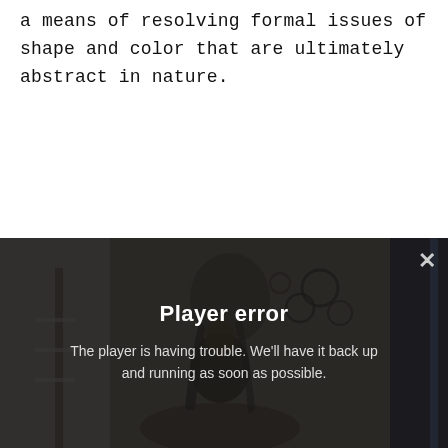says she's chosen. Figuration here is perhaps best read as a means of resolving formal issues of shape and color that are ultimately abstract in nature.
[Figure (screenshot): Video player error overlay showing 'Player error' message over a dark background with a partially visible image of a person near artwork. An X close button is visible in the top-right corner. The message reads: 'The player is having trouble. We'll have it back up and running as soon as possible.']